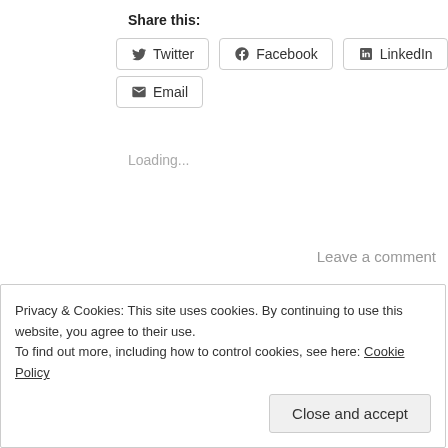Share this:
Twitter  Facebook  LinkedIn  Email
Loading...
Leave a comment
Privacy & Cookies: This site uses cookies. By continuing to use this website, you agree to their use.
To find out more, including how to control cookies, see here: Cookie Policy
Close and accept